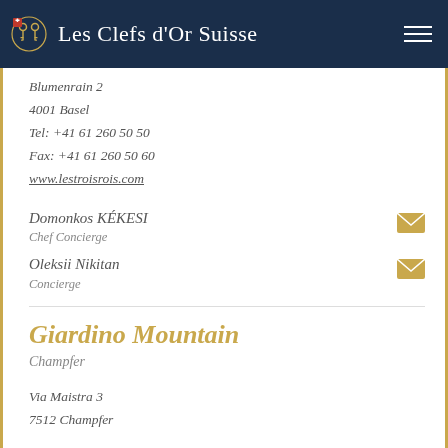Les Clefs d'Or Suisse
Blumenrain 2
4001 Basel
Tel: +41 61 260 50 50
Fax: +41 61 260 50 60
www.lestroisrois.com
Domonkos KÉKESI
Chef Concierge
Oleksii Nikitan
Concierge
Giardino Mountain
Champfer
Via Maistra 3
7512 Champfer